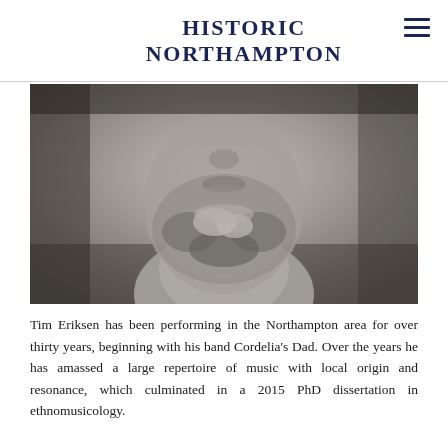HISTORIC NORTHAMPTON
[Figure (photo): Black and white close-up photograph of a bearded man's face and neck, cropped to show from the nose down to the chest.]
Tim Eriksen has been performing in the Northampton area for over thirty years, beginning with his band Cordelia's Dad. Over the years he has amassed a large repertoire of music with local origin and resonance, which culminated in a 2015 PhD dissertation in ethnomusicology.